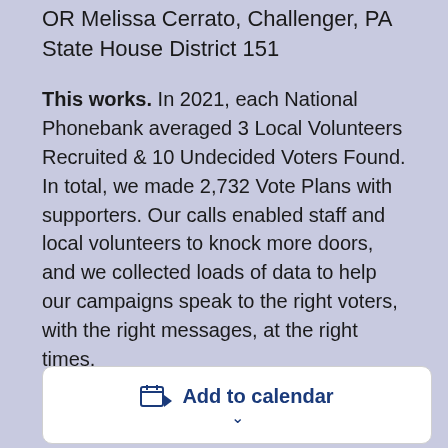OR Melissa Cerrato, Challenger, PA State House District 151
This works. In 2021, each National Phonebank averaged 3 Local Volunteers Recruited & 10 Undecided Voters Found. In total, we made 2,732 Vote Plans with supporters. Our calls enabled staff and local volunteers to knock more doors, and we collected loads of data to help our campaigns speak to the right voters, with the right messages, at the right times.
[Figure (other): Add to calendar button with calendar icon and chevron dropdown indicator]